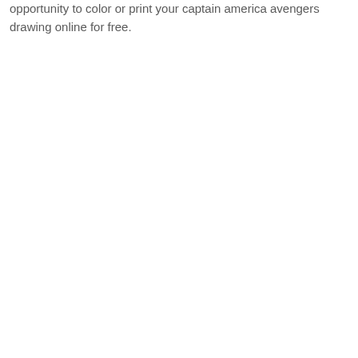opportunity to color or print your captain america avengers drawing online for free.